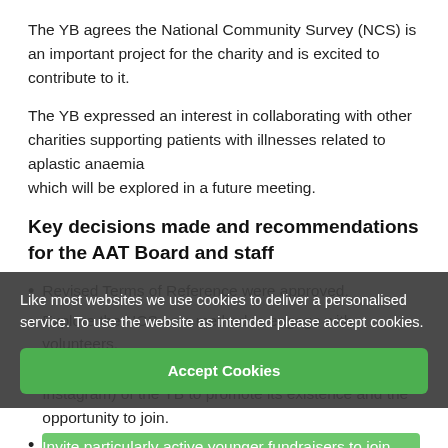The YB agrees the National Community Survey (NCS) is an important project for the charity and is excited to contribute to it.
The YB expressed an interest in collaborating with other charities supporting patients with illnesses related to aplastic anaemia which will be explored in a future meeting.
Key decisions made and recommendations for the AAT Board and staff
Revised Terms of Reference were approved.
Explore the NCS as a method to engage with volunteers.
Continue to develop the social media presence (esp. Instagram) of the YB to promote its existence and the opportunity to join.
Invite particularly active younger fundraisers to join the YB.
Promote the YB and YF within any parent-focused support groups.
Like most websites we use cookies to deliver a personalised service. To use the website as intended please accept cookies.